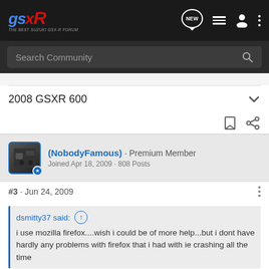[Figure (screenshot): GSXR forum website header with logo, navigation icons, and search bar]
2008 GSXR 600
(NobodyFamous) · Premium Member
Joined Apr 18, 2009 · 808 Posts
#3 · Jun 24, 2009
dsmitty37 said: ↑
i use mozilla firefox....wish i could be of more help...but i dont have hardly any problems with firefox that i had with ie crashing all the time